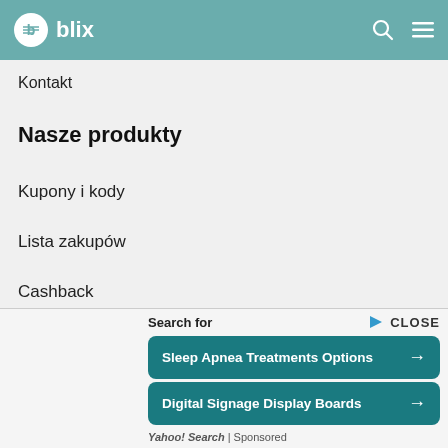blix
Kontakt
Nasze produkty
Kupony i kody
Lista zakupów
Cashback
Blix Ukraine
Search for  CLOSE
Sleep Apnea Treatments Options →
Digital Signage Display Boards →
Yahoo! Search | Sponsored